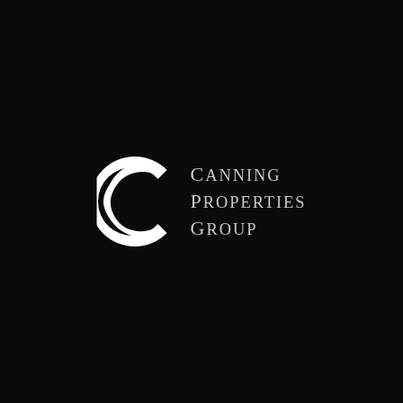[Figure (logo): Canning Properties Group logo: a large white crescent/C letterform on the left, with the text 'CANNING PROPERTIES GROUP' in silver serif capitals on the right, all on a black background.]